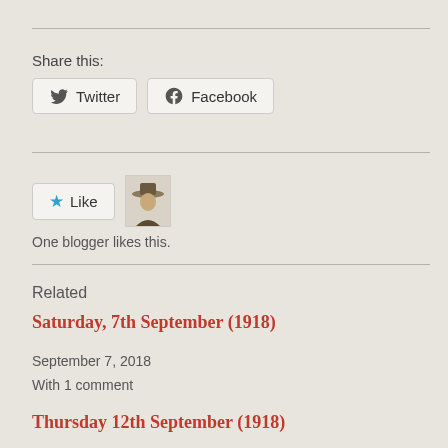Share this:
Twitter  Facebook
Like  One blogger likes this.
Related
Saturday, 7th September (1918)
September 7, 2018
With 1 comment
Thursday 12th September (1918)